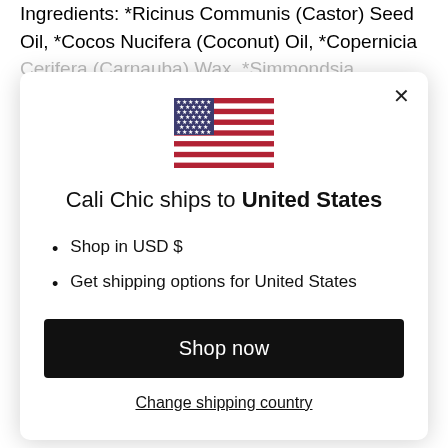Ingredients: *Ricinus Communis (Castor) Seed Oil, *Cocos Nucifera (Coconut) Oil, *Copernicia Cerifera (Carnauba) Wax, *Simmondsia Palmaris
[Figure (screenshot): Modal dialog popup: US flag icon, text 'Cali Chic ships to United States', bullet list with 'Shop in USD $' and 'Get shipping options for United States', a black 'Shop now' button, and a 'Change shipping country' link. Close X button in top right corner.]
Extract, May Contain: Mica, Titanium Dioxide (Ci 77891), Iron Oxide (Ci 77491, 7749277499)